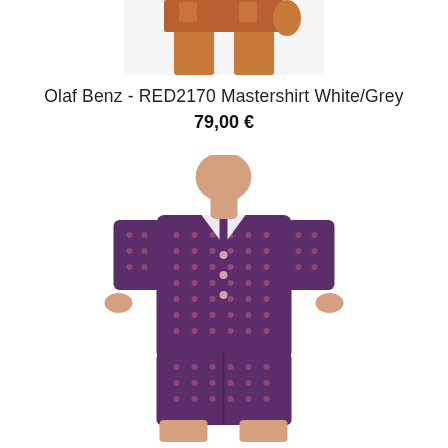[Figure (photo): Partial view of a male model from waist down wearing orange/tan colored underwear or shorts, cropped at top of page]
Olaf Benz - RED2170 Mastershirt White/Grey
79,00 €
[Figure (photo): Male model wearing a dark purple/burgundy short-sleeve button-up shirt and matching shorts with a small pattern print, standing against white background, face cropped out]